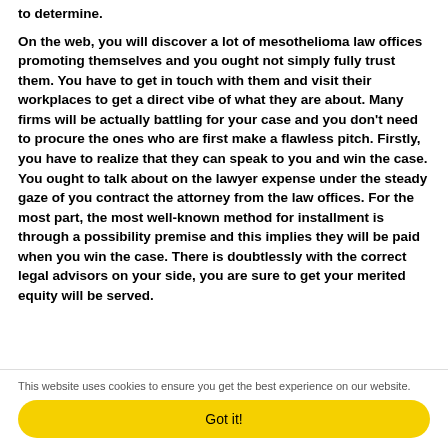to determine.
On the web, you will discover a lot of mesothelioma law offices promoting themselves and you ought not simply fully trust them. You have to get in touch with them and visit their workplaces to get a direct vibe of what they are about. Many firms will be actually battling for your case and you don't need to procure the ones who are first make a flawless pitch. Firstly, you have to realize that they can speak to you and win the case. You ought to talk about on the lawyer expense under the steady gaze of you contract the attorney from the law offices. For the most part, the most well-known method for installment is through a possibility premise and this implies they will be paid when you win the case. There is doubtlessly with the correct legal advisors on your side, you are sure to get your merited equity will be served.
This website uses cookies to ensure you get the best experience on our website.
Got it!